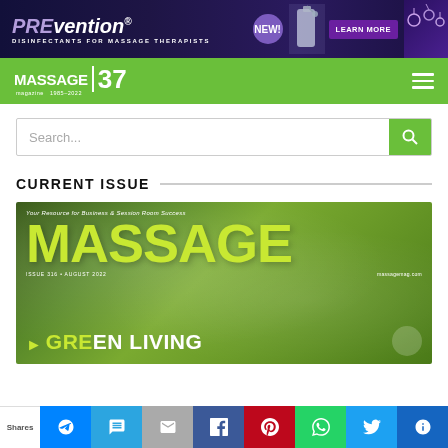[Figure (photo): PREVention disinfectants for massage therapists advertisement banner - dark purple background with logo, spray bottles, flowers, NEW badge and LEARN MORE button]
MASSAGE 37 magazine | 1985-2022
Search...
CURRENT ISSUE
[Figure (photo): Massage Magazine current issue cover - Issue 316, August 2022. Green background with MASSAGE title in lime green, subtitle Your Resource for Business & Session Room Success, GREEN LIVING feature story, massagemag.com URL]
Shares | Messenger | Chat | Email | Facebook | Pinterest | WhatsApp | Twitter | More